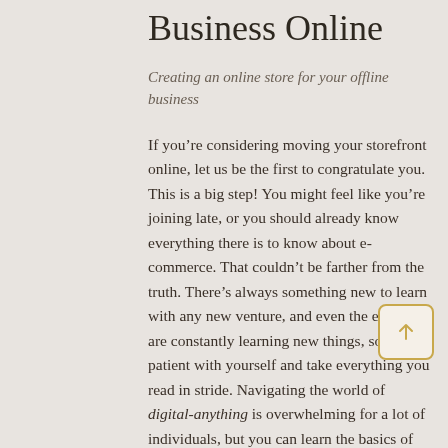Business Online
Creating an online store for your offline business
If you’re considering moving your storefront online, let us be the first to congratulate you. This is a big step! You might feel like you’re joining late, or you should already know everything there is to know about e-commerce. That couldn’t be farther from the truth. There’s always something new to learn with any new venture, and even the experts are constantly learning new things, so be patient with yourself and take everything you read in stride. Navigating the world of digital-anything is overwhelming for a lot of individuals, but you can learn the basics of moving